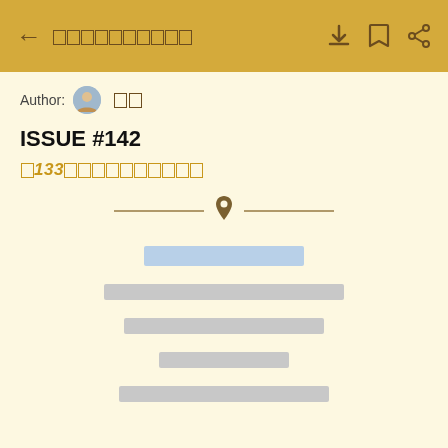← [text] [icons]
Author: [avatar] [icon]
ISSUE #142
[CJK text] 133 [CJK text]
[Figure (other): Horizontal divider with location pin icon in center]
[redacted blue text block]
[redacted gray text block 1]
[redacted gray text block 2]
[redacted gray text block 3]
[redacted gray text block 4]